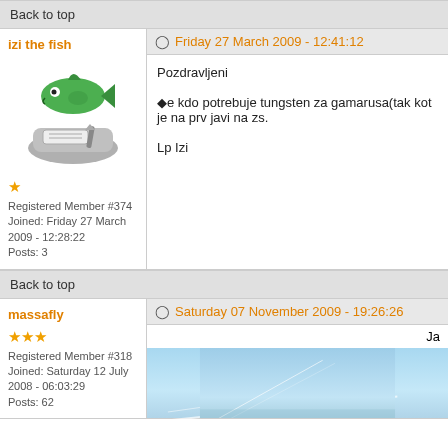Back to top
izi the fish
Friday 27 March 2009 - 12:41:12
[Figure (illustration): Cartoon green fish sitting on a grey pedestal/scanner device]
Registered Member #374
Joined: Friday 27 March 2009 - 12:28:22
Posts: 3
Pozdravljeni

◆e kdo potrebuje tungsten za gamarusa(tak kot je na prv javi na zs.

Lp Izi
Back to top
massafly
Saturday 07 November 2009 - 19:26:26
Registered Member #318
Joined: Saturday 12 July 2008 - 06:03:29
Posts: 62
Ja
[Figure (photo): Blue sky photo with faint white lines/streaks, possibly a fishing rod or contrails]